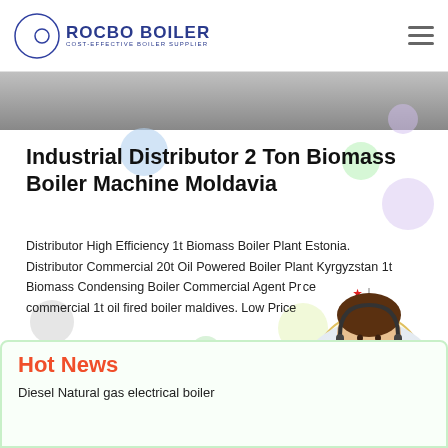[Figure (logo): Rocbo Boiler logo with crescent icon and tagline 'Cost-Effective Boiler Supplier']
[Figure (photo): Gray banner image at top of page content area]
Industrial Distributor 2 Ton Biomass Boiler Machine Moldavia
Distributor High Efficiency 1t Biomass Boiler Plant Estonia. Distributor Commercial 20t Oil Powered Boiler Plant Kyrgyzstan 1t Biomass Condensing Boiler Commercial Agent Pr...ce commercial 1t oil fired boiler maldives. Low Price...
[Figure (illustration): 10% Discount badge/sign hanging graphic]
[Figure (photo): Customer service representative wearing headset, smiling]
Hot News
Diesel Natural gas electrical boiler